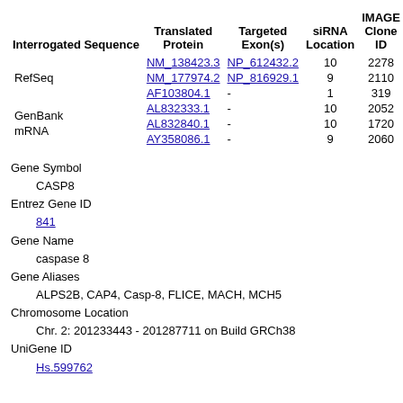| Interrogated Sequence | Translated Protein | Targeted Exon(s) | siRNA Location | IMAGE Clone ID |
| --- | --- | --- | --- | --- |
| RefSeq | NM_138423.3 | NP_612432.2 | 10 | 2278 |  |
|  | NM_177974.2 | NP_816929.1 | 9 | 2110 |  |
|  | AF103804.1 | - | 1 | 319 |  |
| GenBank mRNA | AL832333.1 | - | 10 | 2052 |  |
|  | AL832840.1 | - | 10 | 1720 |  |
|  | AY358086.1 | - | 9 | 2060 |  |
Gene Symbol
CASP8
Entrez Gene ID
841
Gene Name
caspase 8
Gene Aliases
ALPS2B, CAP4, Casp-8, FLICE, MACH, MCH5
Chromosome Location
Chr. 2: 201233443 - 201287711 on Build GRCh38
UniGene ID
Hs.599762